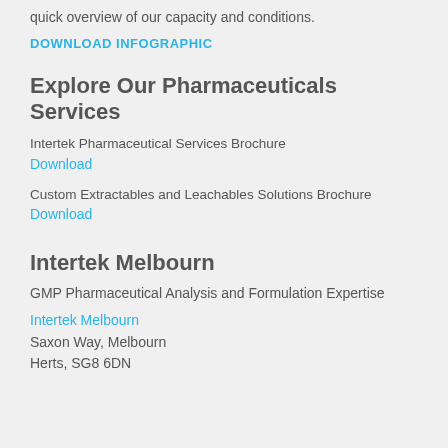quick overview of our capacity and conditions.
DOWNLOAD INFOGRAPHIC
Explore Our Pharmaceuticals Services
Intertek Pharmaceutical Services Brochure
Download
Custom Extractables and Leachables Solutions Brochure
Download
Intertek Melbourn
GMP Pharmaceutical Analysis and Formulation Expertise
Intertek Melbourn
Saxon Way, Melbourn
Herts, SG8 6DN